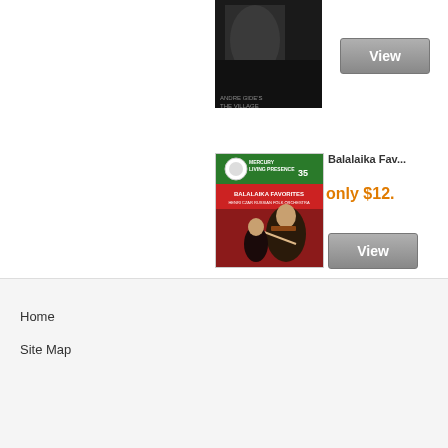[Figure (photo): Album cover image - dark/monochrome portrait style image]
View
[Figure (photo): Balalaika Favorites album cover - Mercury Living Presence 35, shows musicians with balalaika instruments]
Balalaika Fav...
only $12.
View
Home
Site Map